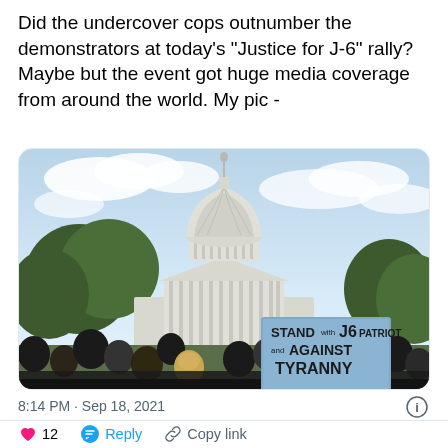Did the undercover cops outnumber the demonstrators at today's "Justice for J-6" rally? Maybe but the event got huge media coverage from around the world. My pic -
[Figure (photo): Photo taken at the 'Justice for J-6' rally on September 18, 2021 near the U.S. Capitol building. The dome of the U.S. Capitol is visible in the center background against a partly cloudy sky. In the foreground, a crowd of people is gathered. A blue sign is visible reading 'STAND with J6 PATRIOT and AGAINST TYRANNY'. Trees are visible on both sides.]
8:14 PM · Sep 18, 2021
12   Reply   Copy link